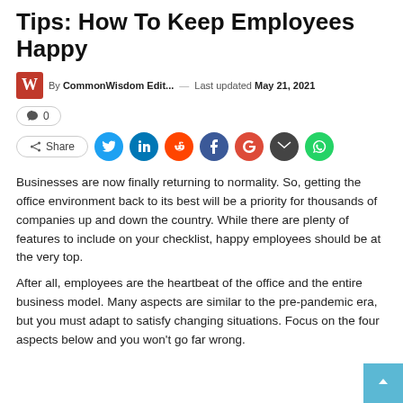Tips: How To Keep Employees Happy
By CommonWisdom Edit... — Last updated May 21, 2021
💬 0
Share [Twitter] [LinkedIn] [Reddit] [Facebook] [Google] [Email] [WhatsApp]
Businesses are now finally returning to normality. So, getting the office environment back to its best will be a priority for thousands of companies up and down the country. While there are plenty of features to include on your checklist, happy employees should be at the very top.
After all, employees are the heartbeat of the office and the entire business model. Many aspects are similar to the pre-pandemic era, but you must adapt to satisfy changing situations. Focus on the four aspects below and you won't go far wrong.